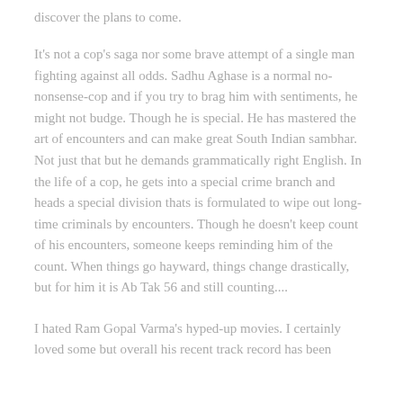discover the plans to come.
It's not a cop's saga nor some brave attempt of a single man fighting against all odds. Sadhu Aghase is a normal no-nonsense-cop and if you try to brag him with sentiments, he might not budge. Though he is special. He has mastered the art of encounters and can make great South Indian sambhar. Not just that but he demands grammatically right English. In the life of a cop, he gets into a special crime branch and heads a special division thats is formulated to wipe out long-time criminals by encounters. Though he doesn't keep count of his encounters, someone keeps reminding him of the count. When things go hayward, things change drastically, but for him it is Ab Tak 56 and still counting....
I hated Ram Gopal Varma's hyped-up movies. I certainly loved some but overall his recent track record has been...